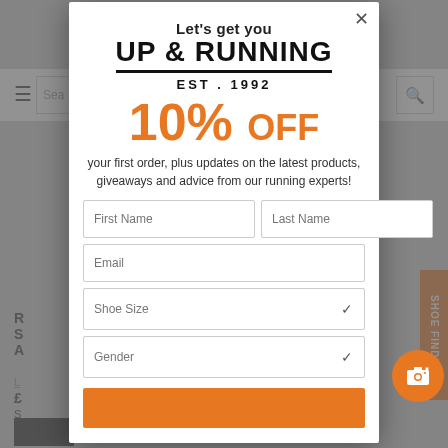[Figure (screenshot): Background dimmed webpage with hamburger menu, search bar, orange shoe finder tab, and partial product listing]
Let's get you UP & RUNNING EST. 1992
10% OFF
your first order, plus updates on the latest products, giveaways and advice from our running experts!
First Name | Last Name | Email | Shoe Size | Gender form fields